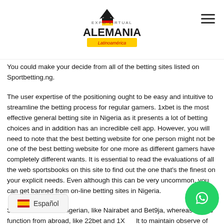Expo Virtual Alemania Latinoamérica
You could make your decide from all of the betting sites listed on Sportbetting.ng.
The user expertise of the positioning ought to be easy and intuitive to streamline the betting process for regular gamers. 1xbet is the most effective general betting site in Nigeria as it presents a lot of betting choices and in addition has an incredible cell app. However, you will need to note that the best betting website for one person might not be one of the best betting website for one more as different gamers have completely different wants. It is essential to read the evaluations of all the web sportsbooks on this site to find out the one that's the finest on your explicit needs. Even although this can be very uncommon, you can get banned from on-line betting sites in Nigeria.
Some of them are Nigerian, like Nairabet and Bet9ja, whereas others function from abroad, like 22bet and 1X… It to maintain observe of the precise q… er if you chose a betting website, ensure